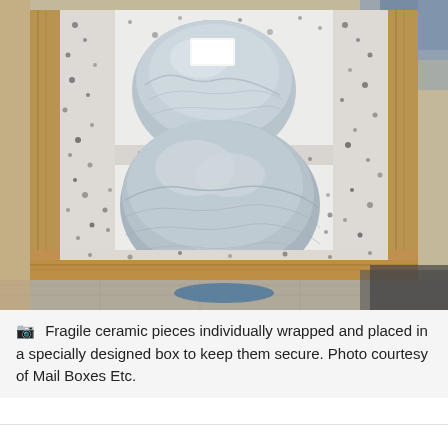[Figure (photo): Overhead view of a wooden crate lined with speckled black-and-white foam/styrofoam insulation padding. Two large ceramic pieces, individually wrapped in plastic/cling film, are nestled inside the crate — one smaller rounded bowl on top (back) and one larger rounded vessel below (front). A small rectangular white label is visible on the top piece. The crate sits on a tiled floor with other packaging materials visible around it.]
Fragile ceramic pieces individually wrapped and placed in a specially designed box to keep them secure. Photo courtesy of Mail Boxes Etc.